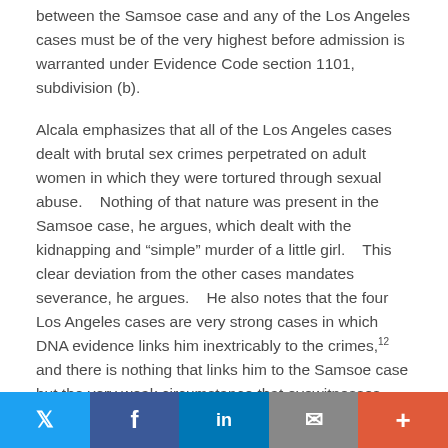between the Samsoe case and any of the Los Angeles cases must be of the very highest before admission is warranted under Evidence Code section 1101, subdivision (b).
Alcala emphasizes that all of the Los Angeles cases dealt with brutal sex crimes perpetrated on adult women in which they were tortured through sexual abuse.    Nothing of that nature was present in the Samsoe case, he argues, which dealt with the kidnapping and "simple" murder of a little girl.    This clear deviation from the other cases mandates severance, he argues.    He also notes that the four Los Angeles cases are very strong cases in which DNA evidence links him inextricably to the crimes,12 and there is nothing that links him to the Samsoe case but the very weak circumstance that eyewitnesses tentatively identified him walking and talking with her earlier in the afternoon of her disappearance.    Finally, he crowns his position with the